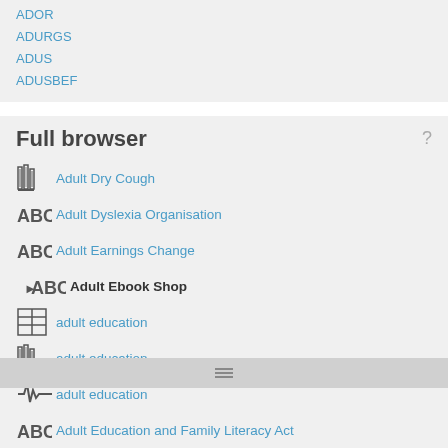ADOR
ADURGS
ADUS
ADUSBEF
Full browser
Adult Dry Cough
Adult Dyslexia Organisation
Adult Earnings Change
Adult Ebook Shop
adult education
adult education
adult education
Adult Education and Family Literacy Act